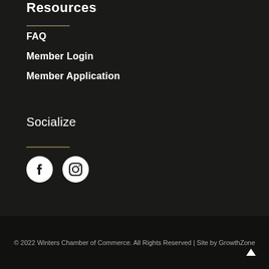Resources
FAQ
Member Login
Member Application
Socialize
[Figure (illustration): Facebook and Instagram social media icons (circular, white on dark background)]
© 2022 Winters Chamber of Commerce.  All Rights Reserved | Site by GrowthZone